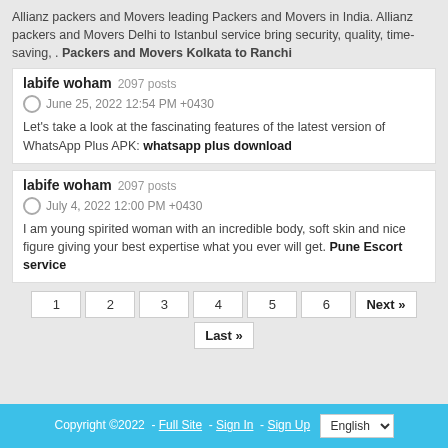Allianz packers and Movers leading Packers and Movers in India. Allianz packers and Movers Delhi to Istanbul service bring security, quality, time-saving, . Packers and Movers Kolkata to Ranchi
labife woham  2097 posts
June 25, 2022 12:54 PM +0430
Let's take a look at the fascinating features of the latest version of WhatsApp Plus APK: whatsapp plus download
labife woham  2097 posts
July 4, 2022 12:00 PM +0430
I am young spirited woman with an incredible body, soft skin and nice figure giving your best expertise what you ever will get. Pune Escort service
1  2  3  4  5  6  Next »  Last »
Copyright ©2022  -  Full Site  -  Sign In  -  Sign Up  English